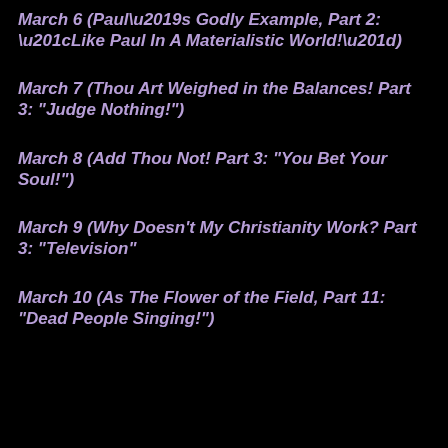March 6 (Paul’s Godly Example, Part 2: “Like Paul In A Materialistic World!”)
March 7 (Thou Art Weighed in the Balances! Part 3: “Judge Nothing!”)
March 8 (Add Thou Not! Part 3: “You Bet Your Soul!”)
March 9 (Why Doesn’t My Christianity Work? Part 3: “Television”
March 10 (As The Flower of the Field, Part 11: “Dead People Singing!”)